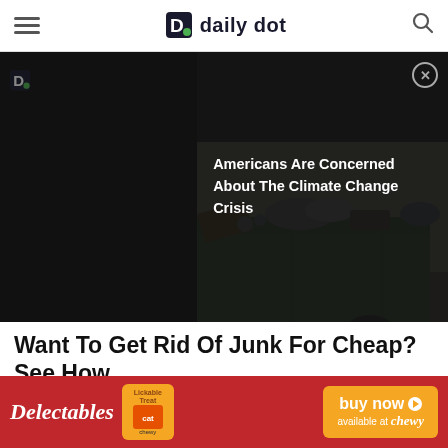daily dot — navigation header with hamburger menu and search icon
[Figure (photo): Advertisement overlay on dark background showing text 'Americans Are Concerned About The Climate Change Crisis' with close button, overlapping a photo of a green dumpster filled with junk/trash]
Want To Get Rid Of Junk For Cheap? See How
Junk Removal | Search Ads | Sponsored
[Figure (photo): Delectables cat treat advertisement banner with red background, Delectables logo, Lickable Treat product image, and 'buy now available at Chewy' button]